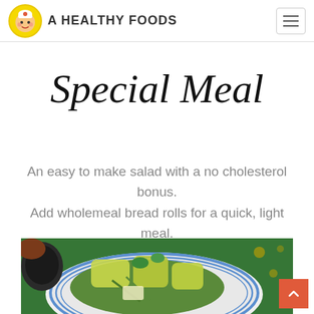A Healthy Foods
Special Meal
An easy to make salad with a no cholesterol bonus. Add wholemeal bread rolls for a quick, light meal.
[Figure (photo): A plate of fresh green salad with avocado and vegetables, served on a blue-striped plate on a green background]